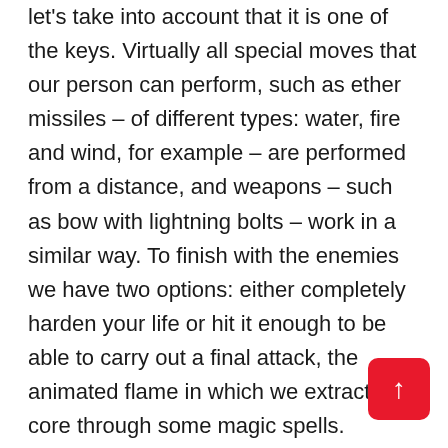let's take into account that it is one of the keys. Virtually all special moves that our person can perform, such as ether missiles – of different types: water, fire and wind, for example – are performed from a distance, and weapons – such as bow with lightning bolts – work in a similar way. To finish with the enemies we have two options: either completely harden your life or hit it enough to be able to carry out a final attack, the animated flame in which we extract your core through some magic spells. Enemies, yokai, do not have a life bar in themselves, but if they are in a state of greater danger, their core will expand more and more. But you never quite know how many moves we have left to beat a yokai, which gives it a rather curious element to fight. On the other hand, most of them are designed so that we can move around the map a lot, whether it is looking for ammo, whether it is a question of lowering the rank of their attacks. There is a